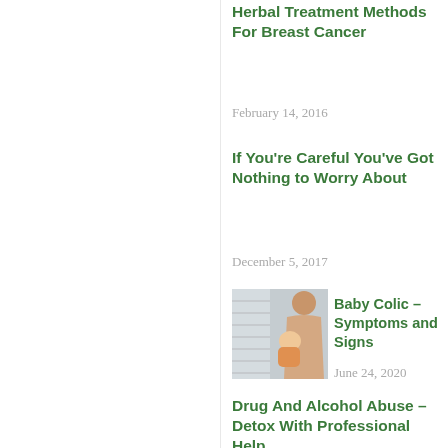Herbal Treatment Methods For Breast Cancer
February 14, 2016
If You're Careful You've Got Nothing to Worry About
December 5, 2017
[Figure (photo): Mother holding a newborn baby]
Baby Colic – Symptoms and Signs
June 24, 2020
Drug And Alcohol Abuse – Detox With Professional Help
August 14, 2018
[Figure (photo): People doing yoga/stretching exercises in a studio]
Benefits and drawbacks of Staying Existing on Overall health News Via an Overall health and Fitness Blog